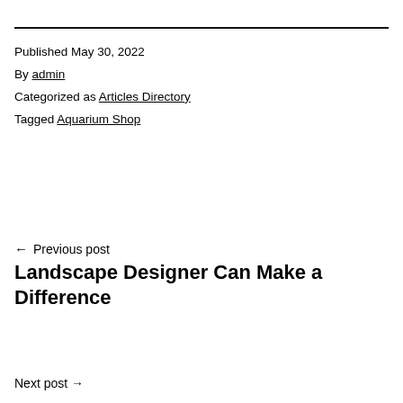Published May 30, 2022
By admin
Categorized as Articles Directory
Tagged Aquarium Shop
← Previous post
Landscape Designer Can Make a Difference
Next post →